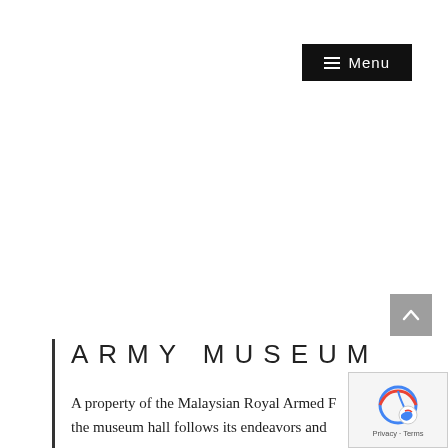☰ Menu
ARMY MUSEUM
A property of the Malaysian Royal Armed F... the museum hall follows its endeavors and